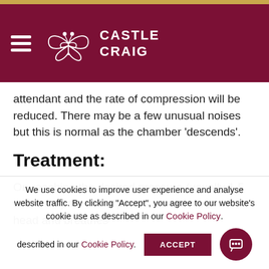Castle Craig
attendant and the rate of compression will be reduced. There may be a few unusual noises but this is normal as the chamber 'descends'.
Treatment:
On reaching the desired pressure (usually 1.5 to 2.0 ata) the client places a mask over the head and breathes
We use cookies to improve user experience and analyse website traffic. By clicking "Accept", you agree to our website's cookie use as described in our Cookie Policy.